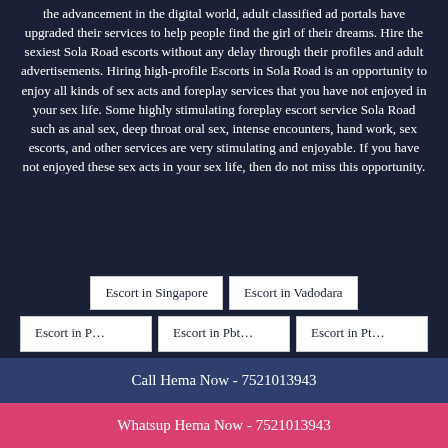the advancement in the digital world, adult classified ad portals have upgraded their services to help people find the girl of their dreams. Hire the sexiest Sola Road escorts without any delay through their profiles and adult advertisements. Hiring high-profile Escorts in Sola Road is an opportunity to enjoy all kinds of sex acts and foreplay services that you have not enjoyed in your sex life. Some highly stimulating foreplay escort service Sola Road such as anal sex, deep throat oral sex, intense encounters, hand work, sex escorts, and other services are very stimulating and enjoyable. If you have not enjoyed these sex acts in your sex life, then do not miss this opportunity.
Escort in Singapore | Escort in Vadodara
Escort in... | Escort in... | Escort in...
Call Hema Now - 7521013943
Whatsup Hema Now - 7521013943